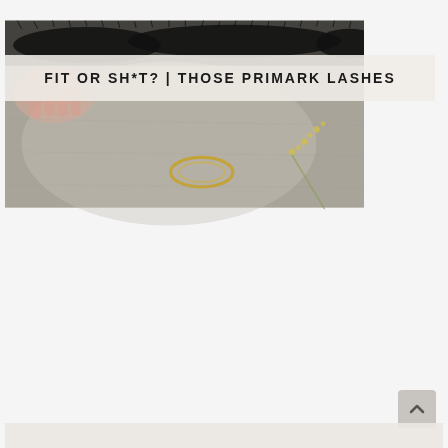[Figure (photo): Close-up photo of false eyelashes and beauty accessories on a flat lay background with flowers and jewelry]
FIT OR SH*T? | THOSE PRIMARK LASHES
[Figure (photo): Portrait photo of a young woman with dark braided hair, wearing a light blue shirt, arms crossed, looking slightly upward, against a white/light gray background]